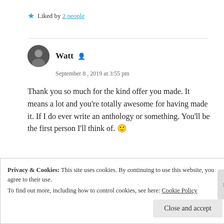★ Liked by 2 people
Watt
September 8, 2019 at 3:55 pm
Thank you so much for the kind offer you made. It means a lot and you're totally awesome for having made it. If I do ever write an anthology or something. You'll be the first person I'll think of. 🙂
★ Liked by 4 people
Privacy & Cookies: This site uses cookies. By continuing to use this website, you agree to their use. To find out more, including how to control cookies, see here: Cookie Policy